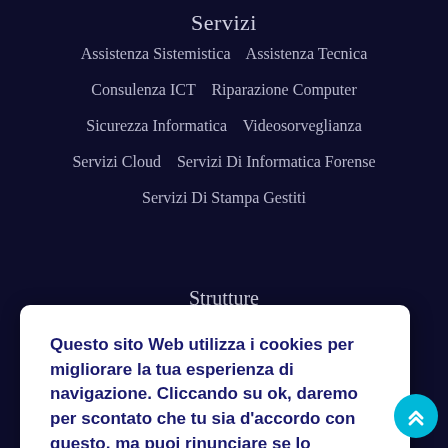Servizi
Assistenza Sistemistica   Assistenza Tecnica
Consulenza ICT   Riparazione Computer
Sicurezza Informatica   Videosorveglianza
Servizi Cloud   Servizi Di Informatica Forense
Servizi Di Stampa Gestiti
Questo sito Web utilizza i cookies per migliorare la tua esperienza di navigazione. Cliccando su ok, daremo per scontato che tu sia d'accordo con questo, ma puoi rinunciare se lo desideri.
Cookie settings
OK
Strutture
Help Desk   Laboratorio Riparazioni
Staging Area Rollout
Supporto & Manutenzione   Tutoring – Formazione
Copyright Text by Multi Medi@ Center - Marina Pane…